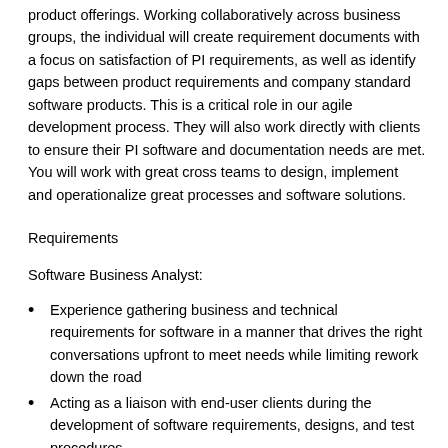product offerings. Working collaboratively across business groups, the individual will create requirement documents with a focus on satisfaction of PI requirements, as well as identify gaps between product requirements and company standard software products. This is a critical role in our agile development process. They will also work directly with clients to ensure their PI software and documentation needs are met. You will work with great cross teams to design, implement and operationalize great processes and software solutions.
Requirements
Software Business Analyst:
Experience gathering business and technical requirements for software in a manner that drives the right conversations upfront to meet needs while limiting rework down the road
Acting as a liaison with end-user clients during the development of software requirements, designs, and test procedures